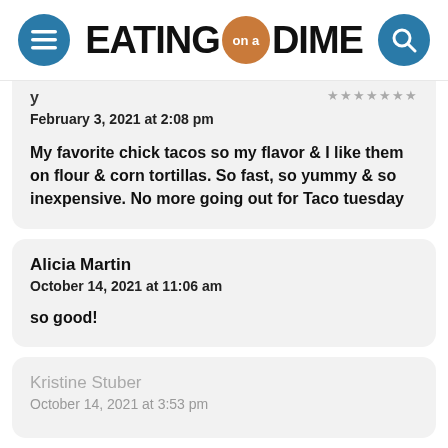EATING on a DIME
February 3, 2021 at 2:08 pm

My favorite chick tacos so my flavor & I like them on flour & corn tortillas. So fast, so yummy & so inexpensive. No more going out for Taco tuesday
Alicia Martin
October 14, 2021 at 11:06 am

so good!
Kristine Stuber
October 14, 2021 at 3:53 pm